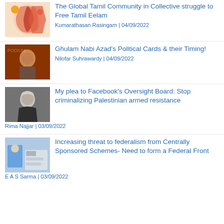[Figure (photo): Map graphic showing Tamil Eelam region]
The Global Tamil Community in Collective struggle to Free Tamil Eelam
Kumarathasan Rasingam | 04/09/2022
[Figure (photo): Man speaking at a podium]
Ghulam Nabi Azad's Political Cards & their Timing!
Nilofar Suhrawardy | 04/09/2022
[Figure (photo): Elderly woman with white hair]
My plea to Facebook's Oversight Board: Stop criminalizing Palestinian armed resistance
Rima Najjar | 03/09/2022
[Figure (photo): Medical workers or workers in a facility]
Increasing threat to federalism from Centrally Sponsored Schemes- Need to form a Federal Front
E A S Sarma | 03/09/2022